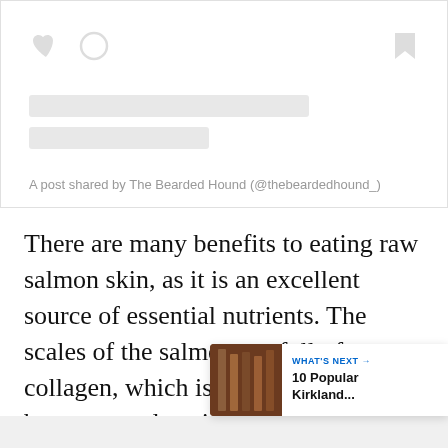[Figure (screenshot): Instagram embedded post placeholder with heart and comment icons on the left, bookmark icon on the right, two gray placeholder lines for text, and a caption reading 'A post shared by The Bearded Hound (@thebeardedhound_)']
There are many benefits to eating raw salmon skin, as it is an excellent source of essential nutrients. The scales of the salmon are full of collagen, which is super healthy for bones, muscles, tissues, and tendons.
[Figure (infographic): WHAT'S NEXT card with thumbnail image and text '10 Popular Kirkland...']